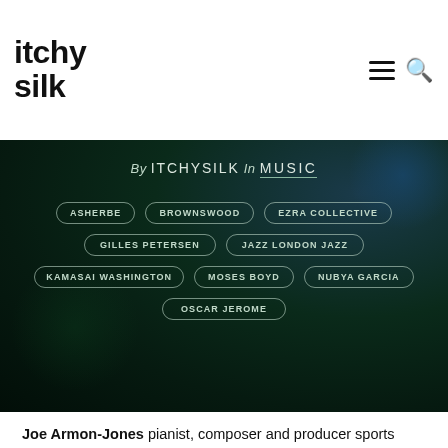itchy silk
[Figure (infographic): Dark green banner with tag pills: ASHERBE, BROWNSWOOD, EZRA COLLECTIVE, GILLES PETERSEN, JAZZ LONDON JAZZ, KAMASAI WASHINGTON, MOSES BOYD, NUBYA GARCIA, OSCAR JEROME. Byline reads: By ITCHYSILK In MUSIC]
Joe Armon-Jones pianist, composer and producer sports